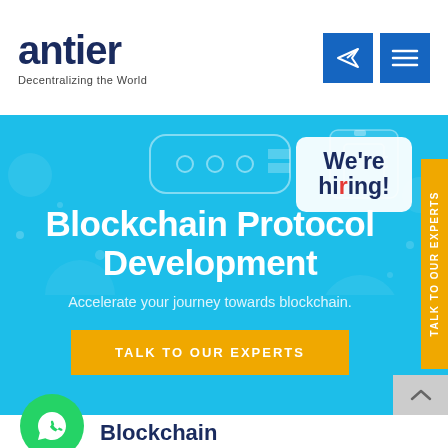[Figure (logo): Antier logo with text 'antier' and tagline 'Decentralizing the World']
[Figure (screenshot): Navigation icons: Telegram send icon and hamburger menu icon on blue background]
[Figure (infographic): Hero banner with blue background, blockchain illustration, 'We're hiring!' badge, main headline 'Blockchain Protocol Development', subtitle 'Accelerate your journey towards blockchain.', yellow CTA button 'TALK TO OUR EXPERTS', and vertical 'TALK TO OUR EXPERTS' sidebar tab]
[Figure (illustration): Line art illustrations of blockchain hardware devices on teal/blue background]
Blockchain Protocol Development
Accelerate your journey towards blockchain.
TALK TO OUR EXPERTS
[Figure (logo): WhatsApp floating button - green circle with WhatsApp icon]
Blockchain